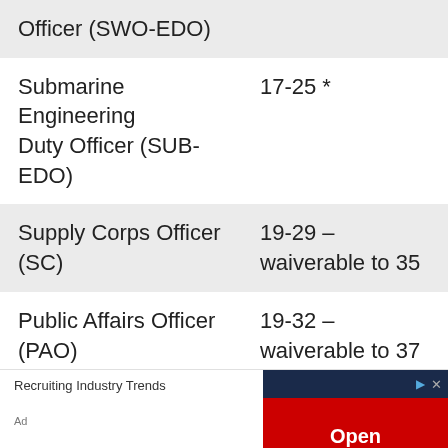| Officer Type | Age Range |
| --- | --- |
| Officer (SWO-EDO) |  |
| Submarine Engineering Duty Officer (SUB-EDO) | 17-25 * |
| Supply Corps Officer (SC) | 19-29 – waiverable to 35 |
| Public Affairs Officer (PAO) | 19-32 – waiverable to 37 |
| Civil Engineer Corps | 19-36 – |
Recruiting Industry Trends
Ad